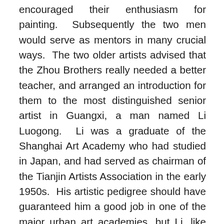encouraged their enthusiasm for painting.  Subsequently the two men would serve as mentors in many crucial ways.  The two older artists advised that the Zhou Brothers really needed a better teacher, and arranged an introduction for them to the most distinguished senior artist in Guangxi, a man named Li Luogong.  Li was a graduate of the Shanghai Art Academy who had studied in Japan, and had served as chairman of the Tianjin Artists Association in the early 1950s.  His artistic pedigree should have guaranteed him a good job in one of the major urban art academies, but Li, like the father of the Zhou Brothers, had been declared a rightist in 1957 and had been exiled to China's remote southwest.  With no studio or art materials, he was unable to paint while in exile, and essentially gave up the art he loved.  He did, however, take up the more private art of seal carving, and eventually emerged as a quite famous master in this traditional art.  After his period of punishment, when all rightists nationwide were